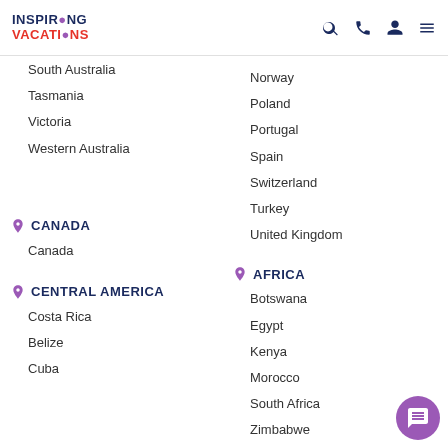Inspiring Vacations
South Australia
Tasmania
Victoria
Western Australia
CANADA
Canada
CENTRAL AMERICA
Costa Rica
Belize
Cuba
Norway
Poland
Portugal
Spain
Switzerland
Turkey
United Kingdom
AFRICA
Botswana
Egypt
Kenya
Morocco
South Africa
Zimbabwe